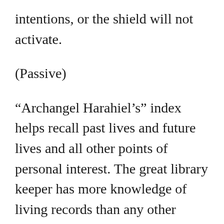intentions, or the shield will not activate.
(Passive)
“Archangel Harahiel’s” index helps recall past lives and future lives and all other points of personal interest. The great library keeper has more knowledge of living records than any other known being.
(Passive)
“Archangel Qaspiel’s tide changer” turns all momentum in your favor. It manifests like